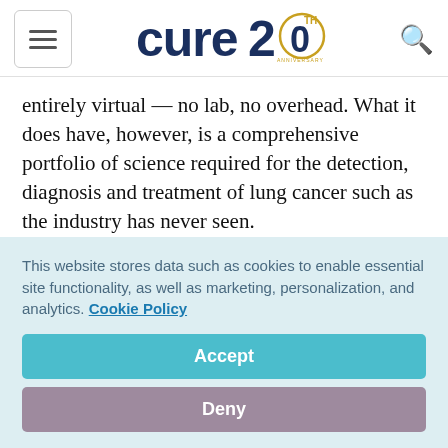cure20 [logo with hamburger menu and search icon]
entirely virtual — no lab, no overhead. What it does have, however, is a comprehensive portfolio of science required for the detection, diagnosis and treatment of lung cancer such as the industry has never seen.
Whereas academia and industry are heavily focused
This website stores data such as cookies to enable essential site functionality, as well as marketing, personalization, and analytics. Cookie Policy
Accept
Deny